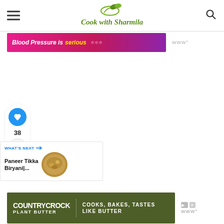Cook with Sharmila
[Figure (screenshot): Advertisement banner: Blood Pressure is serious (pink/purple background)]
[Figure (infographic): Social float: heart/like button with count 38, and share button]
38
[Figure (screenshot): What's Next panel: Paneer Tikka Biryani|... with thumbnail]
[Figure (screenshot): Advertisement banner: Country Crock Plant Butter - Cooks, Bakes, Tastes Like Butter]